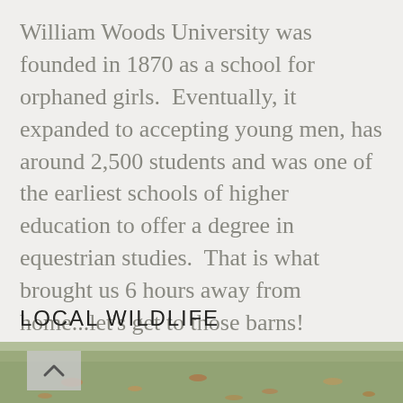William Woods University was founded in 1870 as a school for orphaned girls.  Eventually, it expanded to accepting young men, has around 2,500 students and was one of the earliest schools of higher education to offer a degree in equestrian studies.  That is what brought us 6 hours away from home...let's get to those barns!
LOCAL WILDLIFE
[Figure (photo): Blurred outdoor photo showing grass with fallen leaves in autumn colors, partially visible at bottom of page. A back-to-top button (caret/chevron up icon) overlays the top-left of the photo.]